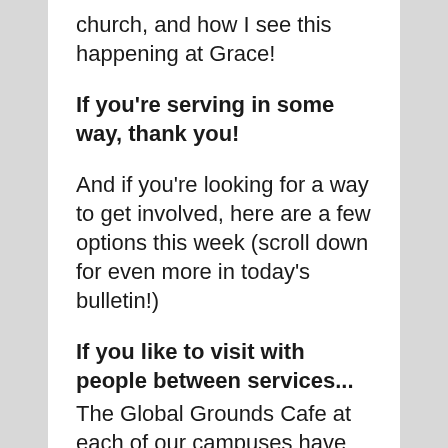church, and how I see this happening at Grace!
If you're serving in some way, thank you!
And if you're looking for a way to get involved, here are a few options this week (scroll down for even more in today's bulletin!)
If you like to visit with people between services...
The Global Grounds Cafe at each of our campuses have been a great place for people to connect with others and